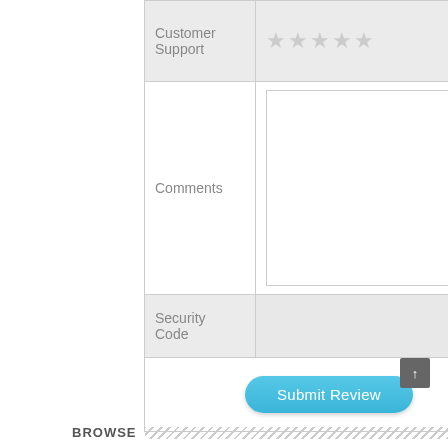| Customer Support | ★★★★★ |
| Comments |  |
| Security Code |  |
|  | Submit Review |
[Figure (screenshot): Back to top arrow button, dark gray square with upward arrow]
BROWSE